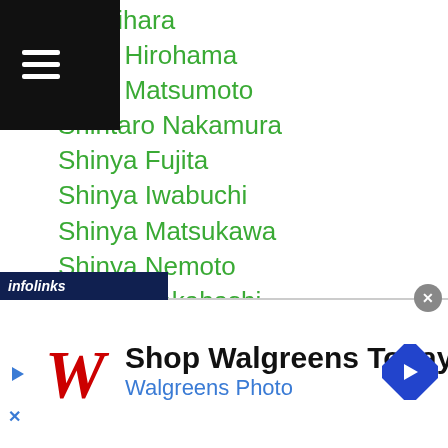nta Aihara
ntaro Hirohama
ntaro Matsumoto
Shintaro Nakamura
Shinya Fujita
Shinya Iwabuchi
Shinya Matsukawa
Shinya Nemoto
Shinya Takahashi
Shione Ogata
Shiro Saito
Shogo Dairakuin
Shogo Hayashi
Shogo Ishikawa
Shogo Maeda
Shogo Myojin
[Figure (other): Advertisement banner for Walgreens Photo with infolinks bar overlay]